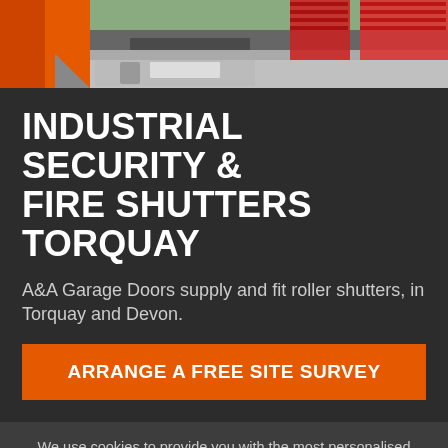[Figure (photo): Photo strip showing a building with red roller shutters and a car park/forecourt area, with orange brand element on the left.]
INDUSTRIAL SECURITY & FIRE SHUTTERS TORQUAY
A&A Garage Doors supply and fit roller shutters, in Torquay and Devon.
ARRANGE A FREE SITE SURVEY
We use cookies to provide you with the most personalised experience possible. Read our privacy policy to understand more about which cookies we use and how we use them. Find out more  OK, Got It!